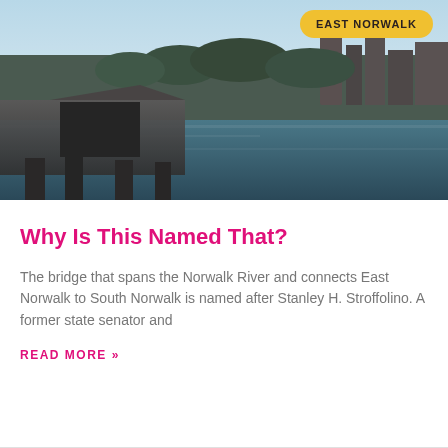[Figure (photo): Aerial or elevated view of a river (Norwalk River) with a bridge/dock structure in the foreground on the left, and city buildings and trees visible across the river in the background. Yellow badge overlay reads 'EAST NORWALK'.]
Why Is This Named That?
The bridge that spans the Norwalk River and connects East Norwalk to South Norwalk is named after Stanley H. Stroffolino. A former state senator and
READ MORE »